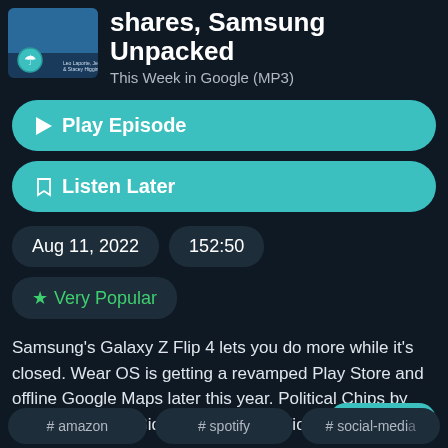[Figure (screenshot): Podcast thumbnail image for This Week in Google with hosts Leo Laporte, Jeff Jarvis & Stacey Higginbotham]
shares, Samsung Unpacked
This Week in Google (MP3)
Play Episode
Listen Later
Aug 11, 2022
152:50
★ Very Popular
Samsung's Galaxy Z Flip 4 lets you do more while it's closed. Wear OS is getting a revamped Play Store and offline Google Maps later this year. Political Chips by Ben Thompson. Biden signs $280 billion CHIPS
See More
# amazon
# spotify
# social-media